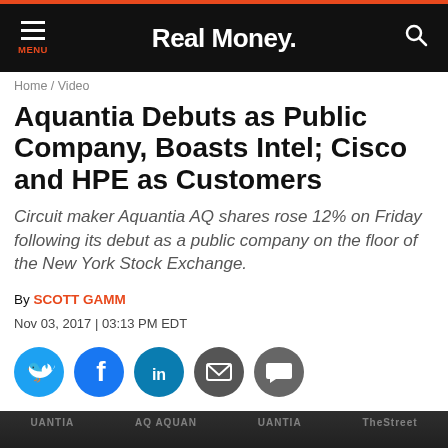Real Money
Home / Video
Aquantia Debuts as Public Company, Boasts Intel; Cisco and HPE as Customers
Circuit maker Aquantia AQ shares rose 12% on Friday following its debut as a public company on the floor of the New York Stock Exchange.
By SCOTT GAMM
Nov 03, 2017 | 03:13 PM EDT
[Figure (other): Social sharing icons: Twitter, Facebook, LinkedIn, Email, Comment]
[Figure (screenshot): Video thumbnail showing NYSE trading floor with caption: Aquantia Debuts as Public Company, B...]